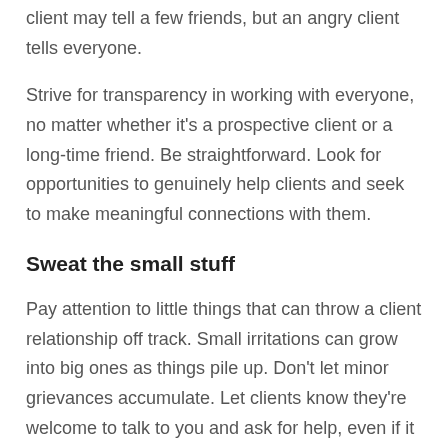client may tell a few friends, but an angry client tells everyone.
Strive for transparency in working with everyone, no matter whether it's a prospective client or a long-time friend. Be straightforward. Look for opportunities to genuinely help clients and seek to make meaningful connections with them.
Sweat the small stuff
Pay attention to little things that can throw a client relationship off track. Small irritations can grow into big ones as things pile up. Don't let minor grievances accumulate. Let clients know they're welcome to talk to you and ask for help, even if it seems like a minor detail